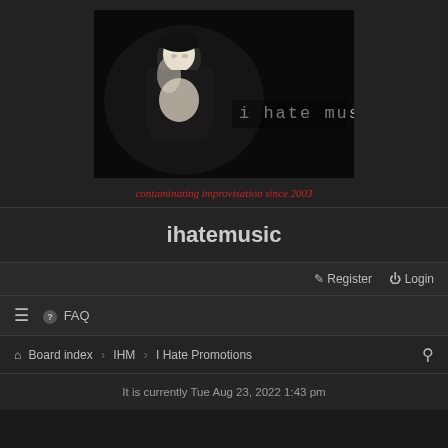[Figure (photo): Black and white banner image showing a person reclining with text 'i hate music' in monospace font on the right side]
contaminating improvisation since 2003
ihatemusic
Register   Login
≡   FAQ
Board index › IHM › I Hate Promotions
It is currently Tue Aug 23, 2022 1:43 pm